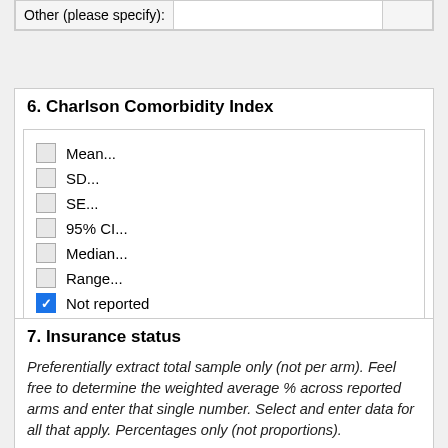|  |  |  |
| --- | --- | --- |
| Other (please specify): |  |  |
6. Charlson Comorbidity Index
Mean...
SD...
SE...
95% CI...
Median...
Range...
Not reported
7. Insurance status
Preferentially extract total sample only (not per arm). Feel free to determine the weighted average % across reported arms and enter that single number. Select and enter data for all that apply. Percentages only (not proportions).